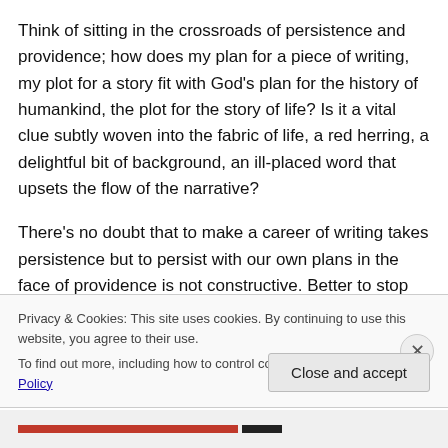Think of sitting in the crossroads of persistence and providence; how does my plan for a piece of writing, my plot for a story fit with God’s plan for the history of humankind, the plot for the story of life? Is it a vital clue subtly woven into the fabric of life, a red herring, a delightful bit of background, an ill-placed word that upsets the flow of the narrative?
There’s no doubt that to make a career of writing takes persistence but to persist with our own plans in the face of providence is not constructive. Better to stop for a while
Privacy & Cookies: This site uses cookies. By continuing to use this website, you agree to their use.
To find out more, including how to control cookies, see here: Cookie Policy
Close and accept